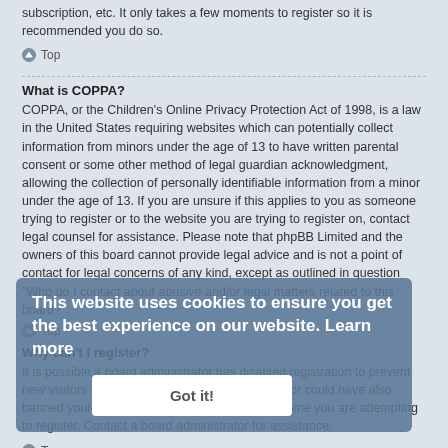subscription, etc. It only takes a few moments to register so it is recommended you do so.
Top
What is COPPA?
COPPA, or the Children's Online Privacy Protection Act of 1998, is a law in the United States requiring websites which can potentially collect information from minors under the age of 13 to have written parental consent or some other method of legal guardian acknowledgment, allowing the collection of personally identifiable information from a minor under the age of 13. If you are unsure if this applies to you as someone trying to register or to the website you are trying to register on, contact legal counsel for assistance. Please note that phpBB Limited and the owners of this board cannot provide legal advice and is not a point of contact for legal concerns of any kind, except as outlined in question “Who do I contact about abusive and/or legal matters related to this board?”.
Top
[Figure (screenshot): Cookie consent overlay: 'This website uses cookies to ensure you get the best experience on our website. Learn more' with a 'Got it!' button]
Why can't I register?
It is possible a board administrator has disabled registration to prevent new visitors from signing up. A board administrator could have also banned your IP address or disallowed the username you are attempting to register. Contact a board administrator for assistance.
Top